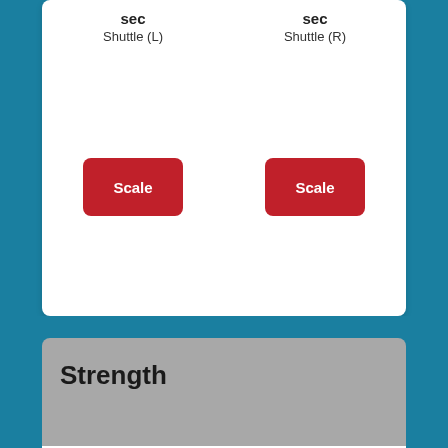sec
Shuttle (L)
sec
Shuttle (R)
Scale
Scale
Strength
7'10''
Broad Jump
7'5''
Lateral Jump (L)
Scale
Scale